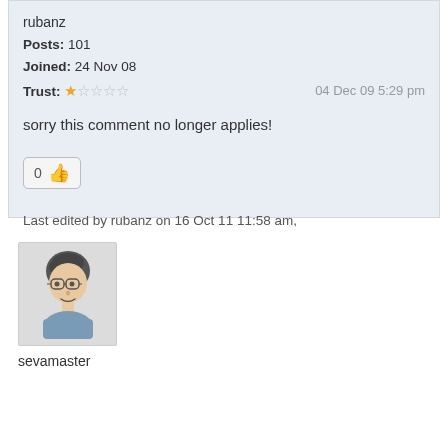rubanz
Posts: 101
Joined: 24 Nov 08
Trust: ★☆☆☆☆     04 Dec 09 5:29 pm
sorry this comment no longer applies!
0 👍
Last edited by rubanz on 16 Oct 11 11:58 am, edited 2 times in total.
[Figure (illustration): User avatar for sevamaster - cartoon person with glasses and dark hair]
sevamaster